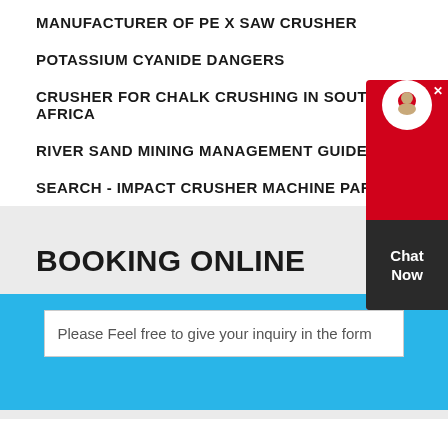MANUFACTURER OF PE X JAW CRUSHER
POTASSIUM CYANIDE DANGERS
CRUSHER FOR CHALK CRUSHING IN SOUTH AFRICA
RIVER SAND MINING MANAGEMENT GUIDEUSED
SEARCH - IMPACT CRUSHER MACHINE PARTS
[Figure (other): Chat Now widget with red background, avatar icon, and dark bottom panel]
BOOKING ONLINE
[Figure (other): Blue circular chat bubble button with ellipsis icon]
Please Feel free to give your inquiry in the form